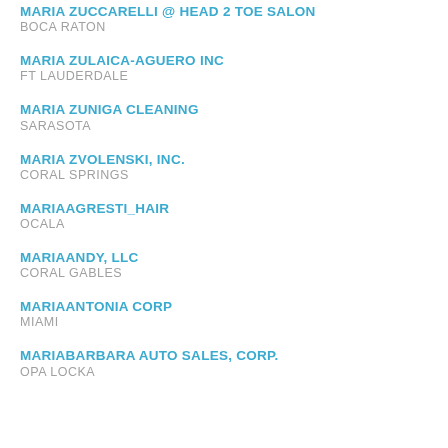MARIA ZUCCARELLI @ HEAD 2 TOE SALON
BOCA RATON
MARIA ZULAICA-AGUERO INC
FT LAUDERDALE
MARIA ZUNIGA CLEANING
SARASOTA
MARIA ZVOLENSKI, INC.
CORAL SPRINGS
MARIAAGRESTI_HAIR
OCALA
MARIAANDY, LLC
CORAL GABLES
MARIAANTONIA CORP
MIAMI
MARIABARBARA AUTO SALES, CORP.
OPA LOCKA